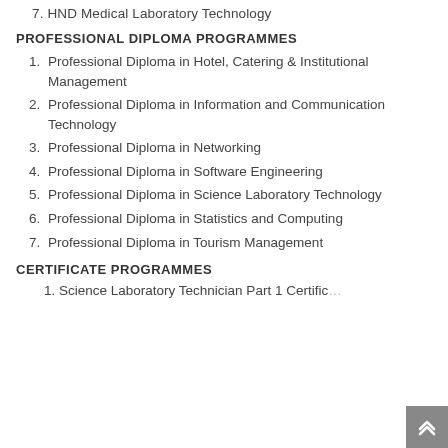7. HND Medical Laboratory Technology
PROFESSIONAL DIPLOMA PROGRAMMES
1. Professional Diploma in Hotel, Catering & Institutional Management
2. Professional Diploma in Information and Communication Technology
3. Professional Diploma in Networking
4. Professional Diploma in Software Engineering
5. Professional Diploma in Science Laboratory Technology
6. Professional Diploma in Statistics and Computing
7. Professional Diploma in Tourism Management
CERTIFICATE PROGRAMMES
1. Science Laboratory Technician Part 1 Certificate